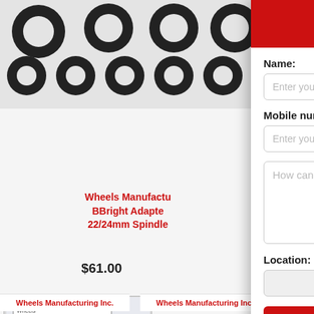[Figure (photo): Background showing o-ring seals/gaskets products on e-commerce page, partially obscured by modal]
Wheels Manufacturing BBright Adapter 22/24mm Spindle
$61.00
[Figure (photo): Wheels Manufacturing headset spacers product box]
Wheels Manufacturing Inc.
Wheels Manufacturing Inc.
Text us!
Name:
Enter your name here
Mobile number:
Enter your phone here
How can we help you?
Location:
Send Text
Powered by Ikeono